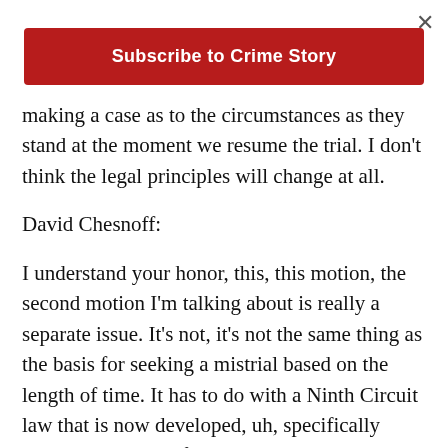Subscribe to Crime Story
making a case as to the circumstances as they stand at the moment we resume the trial. I don't think the legal principles will change at all.
David Chesnoff:
I understand your honor, this, this motion, the second motion I'm talking about is really a separate issue. It's not, it's not the same thing as the basis for seeking a mistrial based on the length of time. It has to do with a Ninth Circuit law that is now developed, uh, specifically dealing with a California Supreme Court case and a